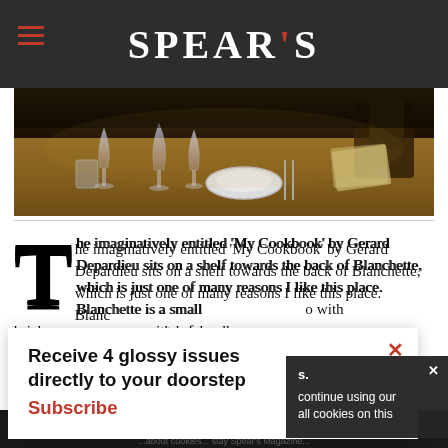SPEAR'S
[Figure (photo): Restaurant dining table set with wine glasses, plates, and cutlery in a warm, dimly lit setting with wooden furniture]
The imaginatively entitled 'My Cookbook' by Gerard Depardieu sits on a shelf towards the back of Blanchette, which is just one of many reasons I like this place. Blanchette is a small ... with brick ... ts of candles ...
Receive 4 glossy issues directly to your doorstep Subscribe
... continue using our ... all cookies on this ...
Continue  Learn more